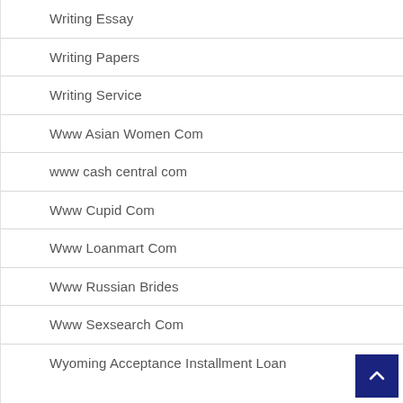Writing Essay
Writing Papers
Writing Service
Www Asian Women Com
www cash central com
Www Cupid Com
Www Loanmart Com
Www Russian Brides
Www Sexsearch Com
Wyoming Acceptance Installment Loan